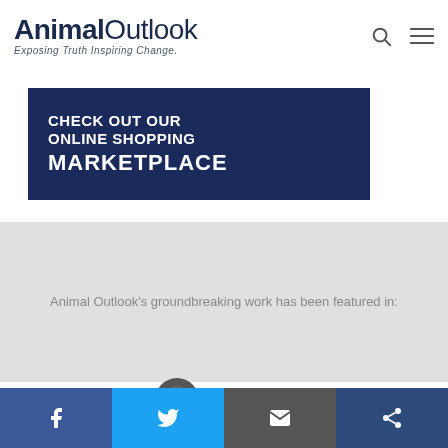[Figure (logo): Animal Outlook logo with text 'AnimalOutlook' and tagline 'Exposing Truth Inspiring Change']
[Figure (infographic): Dark navy banner reading 'CHECK OUT OUR ONLINE SHOPPING MARKETPLACE']
Animal Outlook's groundbreaking work has been featured in:
[Figure (logo): Partial news outlet logo showing a circle with letter and 'NEWS' text]
[Figure (infographic): Social sharing bar with Facebook, Twitter, Email, and Share buttons]